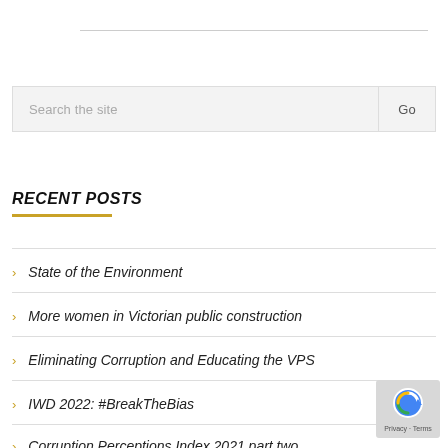Search the site
RECENT POSTS
State of the Environment
More women in Victorian public construction
Eliminating Corruption and Educating the VPS
IWD 2022: #BreakTheBias
Corruption Perceptions Index 2021 part two